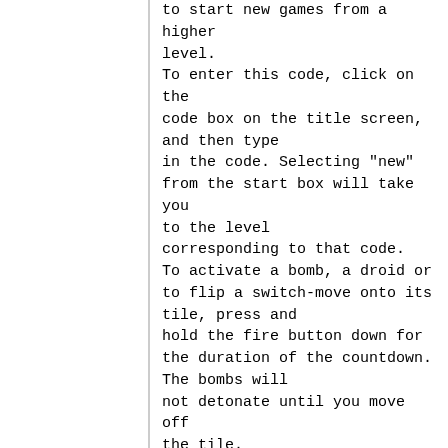to start new games from a higher level.
To enter this code, click on the code box on the title screen, and then type
in the code. Selecting "new" from the start box will take you to the level
corresponding to that code.
To activate a bomb, a droid or to flip a switch-move onto its tile, press and
hold the fire button down for the duration of the countdown. The bombs will
not detonate until you move off the tile.
To pick up a bomb: move onto its tile and press the fire button quickly.
To drop a bomb: move onto a tile with a slot in it and press the